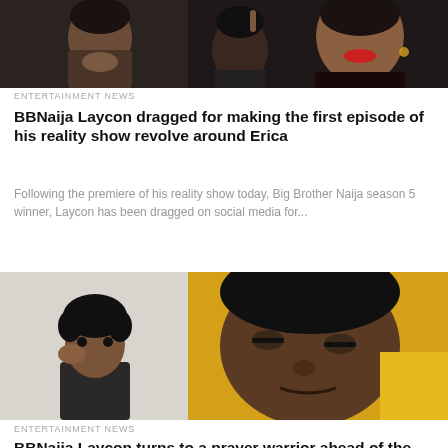[Figure (photo): Collage of two photos: left shows a young Black man resting chin on hand looking pensive, right shows a Black woman with red lipstick smiling and pointing upward, both appear to be celebrities]
ENTERTAINMENT NEWS
BBNaija Laycon dragged for making the first episode of his reality show revolve around Erica
Following the premiere of his reality show today, Big Brother Naija season 5 winner, Laycon has been dragged on social media for...
[Figure (photo): Collage of two photos: left shows a young Black man with short natural hair resting hand on temple looking thoughtful against light background, right shows a close-up of a sleeping or resting child/person against yellow background]
ENTERTAINMENT NEWS
BBNaija Laycon turns to a prayer warrior ahead of the